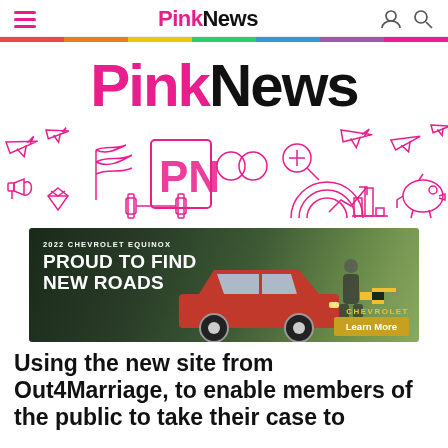PinkNews
[Figure (illustration): Rainbow horizontal bar divider]
[Figure (logo): Large PinkNews logo in pink and black]
[Figure (illustration): Pink outline icons strip: airplanes, flags, PN letters, rings, magnifying glass, megaphone, diamond, gym, rainbow, chart, piggy bank]
[Figure (photo): 2022 Chevrolet Equinox advertisement. Text: '2022 CHEVROLET EQUINOX PROUD TO FIND NEW ROADS' with red SUV, house background, CHEVROLET logo in gold, Learn More button]
Using the new site from Out4Marriage, to enable members of the public to take their case to